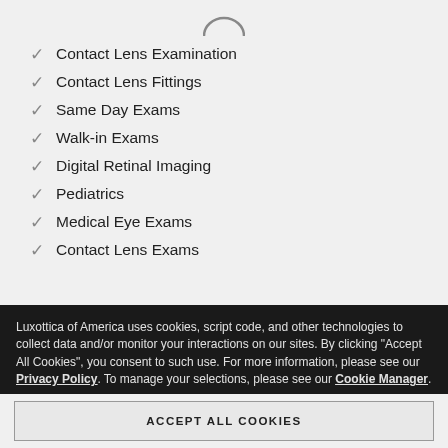[Figure (logo): Partial logo circle at top center]
Contact Lens Examination
Contact Lens Fittings
Same Day Exams
Walk-in Exams
Digital Retinal Imaging
Pediatrics
Medical Eye Exams
Contact Lens Exams
Luxottica of America uses cookies, script code, and other technologies to collect data and/or monitor your interactions on our sites. By clicking "Accept All Cookies", you consent to such use. For more information, please see our Privacy Policy. To manage your selections, please see our Cookie Manager.
ACCEPT ALL COOKIES